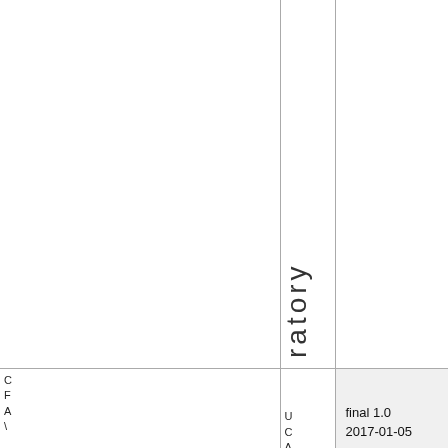|  | ratory |  |
| C
F
A
\ | U
C
A
R | final 1.0
2017-01-05 |